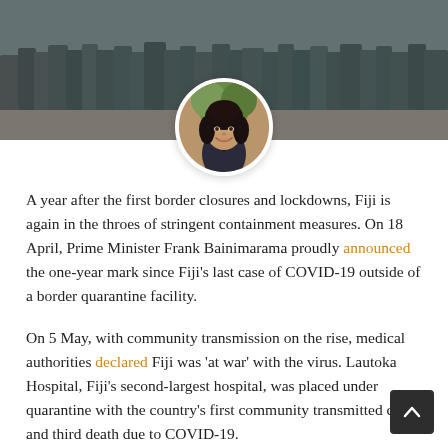[Figure (photo): A banner photo of a crowd of people standing in a queue outdoors, with a circular portrait inset of a smiling woman with dark curly hair wearing a dark top.]
A year after the first border closures and lockdowns, Fiji is again in the throes of stringent containment measures. On 18 April, Prime Minister Frank Bainimarama proudly announced the one-year mark since Fiji's last case of COVID-19 outside of a border quarantine facility.
On 5 May, with community transmission on the rise, medical authorities declared Fiji was 'at war' with the virus. Lautoka Hospital, Fiji's second-largest hospital, was placed under quarantine with the country's first community transmitted case and third death due to COVID-19.